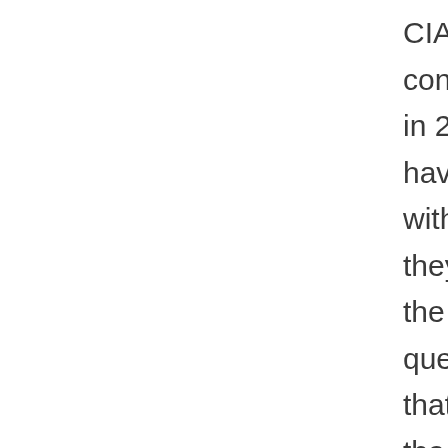CIA's conclusion in 2007 may have been with how they framed the question. At that time, the concern was that, by focusing on the wrong question, the CIA may have been giving an inaccurate impression as to what Iran was